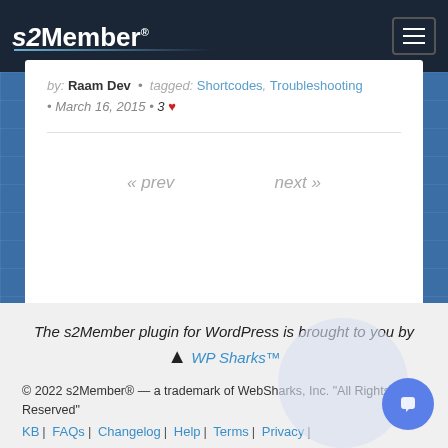s2Member®
by: Raam Dev • tagged: Shortcodes, Troubleshooting • March 16, 2015 • 3 ♥
« prev   next »
The s2Member plugin for WordPress is brought to you by 🦈 WP Sharks™
© 2022 s2Member® — a trademark of WebSharks, Inc. "All Rights Reserved"
KB | FAQs | Changelog | Help | Terms | Privacy |